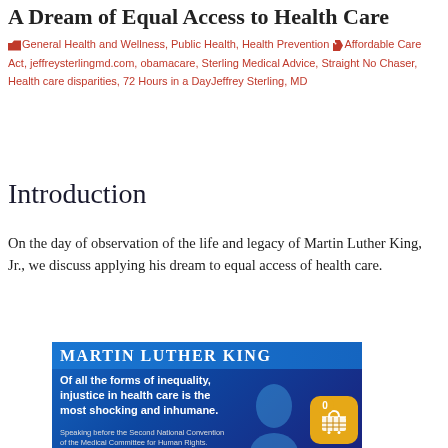A Dream of Equal Access to Health Care
🗂 General Health and Wellness, Public Health, Health Prevention 🏷 Affordable Care Act, jeffreysterlingmd.com, obamacare, Sterling Medical Advice, Straight No Chaser, Health care disparities, 72 Hours in a DayJeffrey Sterling, MD
Introduction
On the day of observation of the life and legacy of Martin Luther King, Jr., we discuss applying his dream to equal access of health care.
[Figure (photo): Blue promotional image with 'MARTIN LUTHER KING' header and quote: 'Of all the forms of inequality, injustice in health care is the most shocking and inhumane.' with attribution text below.]